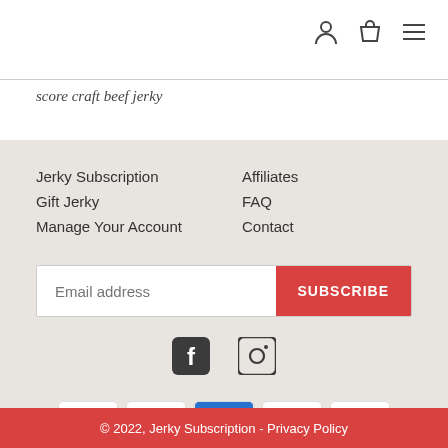score craft beef jerky
Jerky Subscription
Gift Jerky
Manage Your Account
Affiliates
FAQ
Contact
[Figure (screenshot): Email address input field with red SUBSCRIBE button]
[Figure (infographic): Facebook and Instagram social media icons]
[Figure (infographic): Payment method icons: VISA, Mastercard, AMEX, PayPal, Google Pay]
© 2022, Jerky Subscription - Privacy Policy